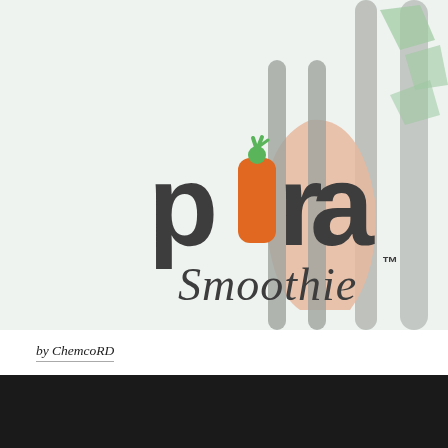[Figure (logo): Pura Smoothie logo on a light green/mint background with decorative smoothie glass graphic elements in grey and peach. The word 'pura' in dark charcoal handwritten style with an orange carrot replacing the letter 'u', topped with a small green citrus slice. Below reads 'Smoothie' in cursive with a TM superscript. Background has stylized tall glass shapes in grey and a peach/salmon color.]
by ChemcoRD
[Figure (photo): Dark/black rectangular image section at the bottom of the page.]